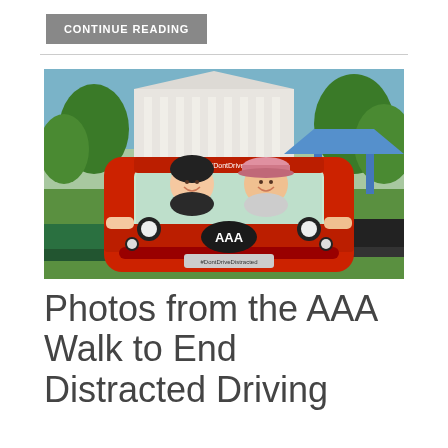CONTINUE READING
[Figure (photo): Two women standing behind a red cardboard car cutout with AAA logo and text 'AAA.com/DontDriveDistracted' and '#DontDriveDistracted'. They are outside in front of a white columned building (government/civic building) on a sunny day with green grass and trees. A blue canopy tent is visible in the background along with event booths.]
Photos from the AAA Walk to End Distracted Driving